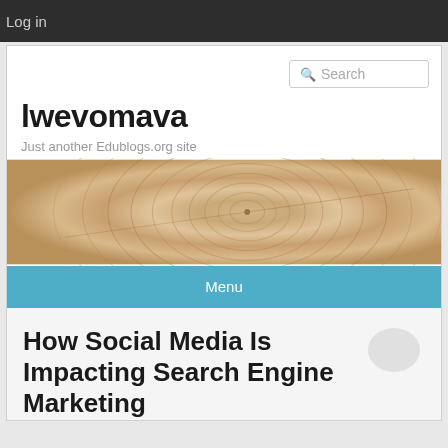Log in
lwevomava
Just another Edublogs.org site
[Figure (photo): Wood grain / tree ring cross-section banner image]
Menu
How Social Media Is Impacting Search Engine Marketing